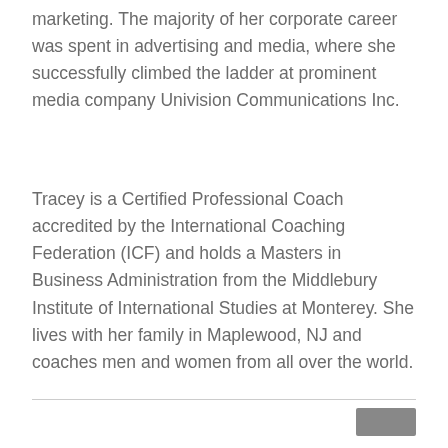marketing. The majority of her corporate career was spent in advertising and media, where she successfully climbed the ladder at prominent media company Univision Communications Inc.
Tracey is a Certified Professional Coach accredited by the International Coaching Federation (ICF) and holds a Masters in Business Administration from the Middlebury Institute of International Studies at Monterey. She lives with her family in Maplewood, NJ and coaches men and women from all over the world.